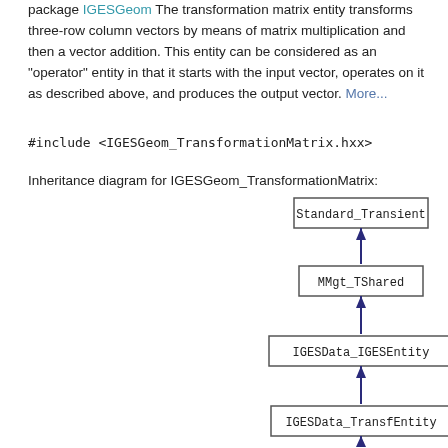package IGESGeom The transformation matrix entity transforms three-row column vectors by means of matrix multiplication and then a vector addition. This entity can be considered as an "operator" entity in that it starts with the input vector, operates on it as described above, and produces the output vector. More...
#include <IGESGeom_TransformationMatrix.hxx>
Inheritance diagram for IGESGeom_TransformationMatrix:
[Figure (other): Inheritance diagram showing: Standard_Transient -> MMgt_TShared -> IGESData_IGESEntity -> IGESData_TransfEntity -> (continues below)]